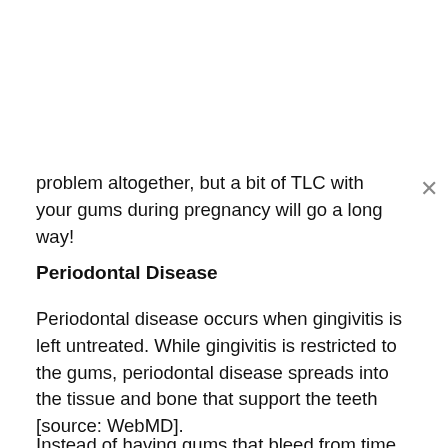problem altogether, but a bit of TLC with your gums during pregnancy will go a long way!
Periodontal Disease
Periodontal disease occurs when gingivitis is left untreated. While gingivitis is restricted to the gums, periodontal disease spreads into the tissue and bone that support the teeth [source: WebMD].
Instead of having gums that bleed from time to time, periodontal disease causes gum tissue to always be raw and have the appearance of pulling away from your teeth. You also may notice pus in between your teeth and around your gums.
As your gingivitis progresses to periodontal disease,